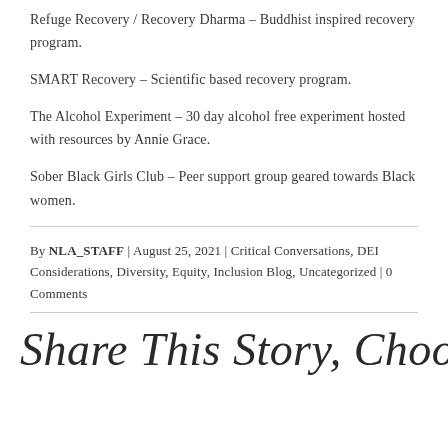Refuge Recovery / Recovery Dharma – Buddhist inspired recovery program.
SMART Recovery – Scientific based recovery program.
The Alcohol Experiment – 30 day alcohol free experiment hosted with resources by Annie Grace.
Sober Black Girls Club – Peer support group geared towards Black women.
By NLA_STAFF | August 25, 2021 | Critical Conversations, DEI Considerations, Diversity, Equity, Inclusion Blog, Uncategorized | 0 Comments
Share This Story, Choose...